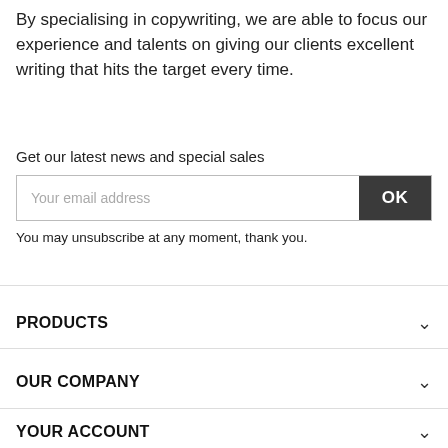By specialising in copywriting, we are able to focus our experience and talents on giving our clients excellent writing that hits the target every time.
Get our latest news and special sales
Your email address
OK
You may unsubscribe at any moment, thank you.
PRODUCTS
OUR COMPANY
YOUR ACCOUNT